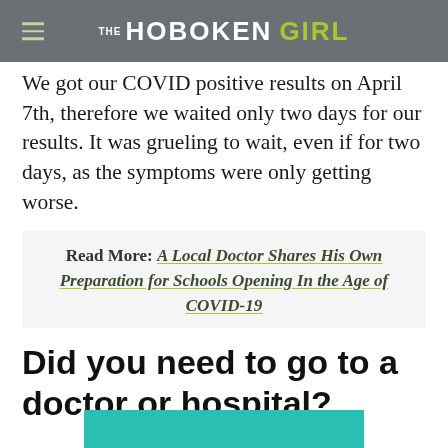THE HOBOKEN GIRL
We got our COVID positive results on April 7th, therefore we waited only two days for our results. It was grueling to wait, even if for two days, as the symptoms were only getting worse.
Read More: A Local Doctor Shares His Own Preparation for Schools Opening In the Age of COVID-19
Did you need to go to a doctor or hospital?
[Figure (other): Teal/green colored banner bar at the bottom of the page, partially visible]